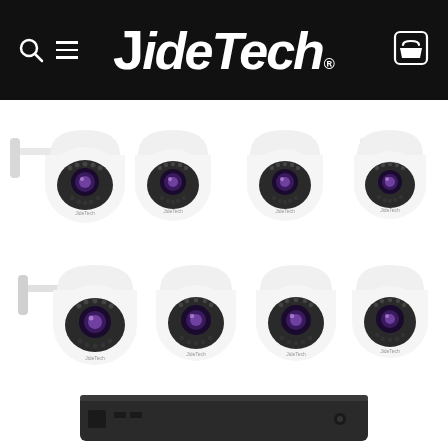JideTech
[Figure (photo): Eight white PTZ dome security cameras arranged in two rows of four, each with purple-tinted lenses and LED rings, with wall-mount brackets visible. Below the cameras is a partial view of a dark NVR/DVR recorder unit.]